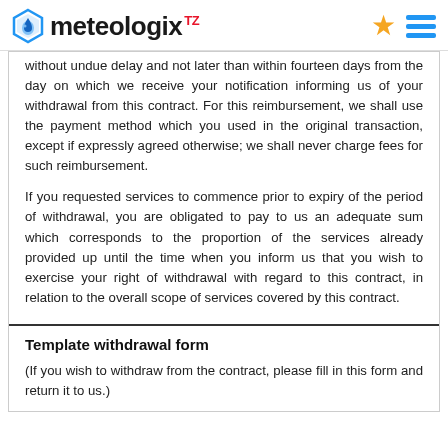meteologix TZ
without undue delay and not later than within fourteen days from the day on which we receive your notification informing us of your withdrawal from this contract. For this reimbursement, we shall use the payment method which you used in the original transaction, except if expressly agreed otherwise; we shall never charge fees for such reimbursement.
If you requested services to commence prior to expiry of the period of withdrawal, you are obligated to pay to us an adequate sum which corresponds to the proportion of the services already provided up until the time when you inform us that you wish to exercise your right of withdrawal with regard to this contract, in relation to the overall scope of services covered by this contract.
Template withdrawal form
(If you wish to withdraw from the contract, please fill in this form and return it to us.)